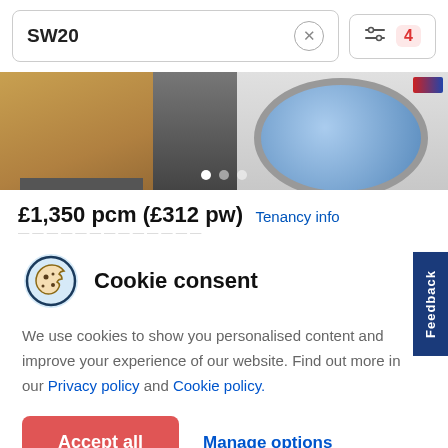SW20
[Figure (screenshot): Property photo showing kitchen cabinet corner and washing machine]
£1,350 pcm (£312 pw) Tenancy info
Cookie consent
We use cookies to show you personalised content and improve your experience of our website. Find out more in our Privacy policy and Cookie policy.
Accept all
Manage options
Feedback